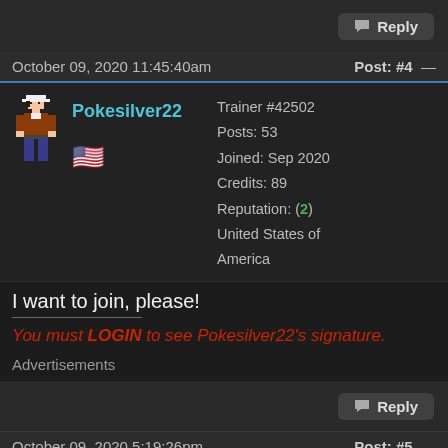Reply
October 09, 2020 11:45:40am   Post: #4
Pokesilver22
Trainer #42502
Posts: 53
Joined: Sep 2020
Credits: 89
Reputation: (2)
United States of America
I want to join, please!
You must LOGIN to see Pokesilver22's signature.
Advertisements
Reply
October 09, 2020 5:19:26pm   Post: #5